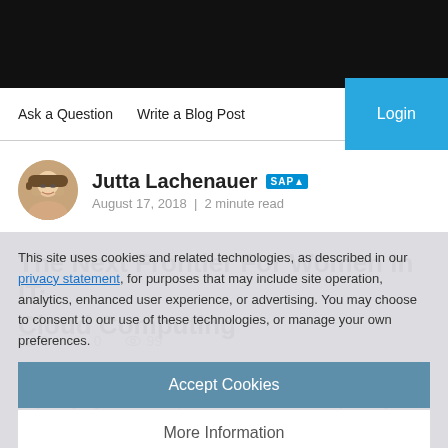[Figure (screenshot): Black top navigation bar of a website]
Ask a Question   Write a Blog Post   Login
[Figure (photo): Circular profile photo of Jutta Lachenauer]
Jutta Lachenauer SAP
August 17, 2018  |  2 minute read
The Next Frontier For Women In IT: Cloud Computing
0  0  99
We can now use 25,000 Amazon Alexa skills and mobile apps to play songs, get weather updates, reorder our laundry detergent,
This site uses cookies and related technologies, as described in our privacy statement, for purposes that may include site operation, analytics, enhanced user experience, or advertising. You may choose to consent to our use of these technologies, or manage your own preferences.
Accept Cookies
More Information
Privacy Policy | Powered by:  TrustArc